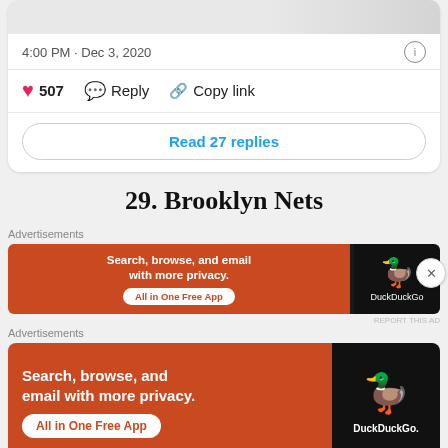[Figure (screenshot): Cropped top portion of a tweet image showing a partial photo]
4:00 PM · Dec 3, 2020
507  Reply  Copy link
Read 27 replies
29. Brooklyn Nets
Advertisements
[Figure (screenshot): DuckDuckGo advertisement banner small: 'Search, browse, and email with more privacy. All in One Free App' with DuckDuckGo logo on dark right side]
Advertisements
[Figure (screenshot): DuckDuckGo advertisement banner large: 'Search, browse, and email with more privacy. All in One Free App' with DuckDuckGo logo on dark right side]